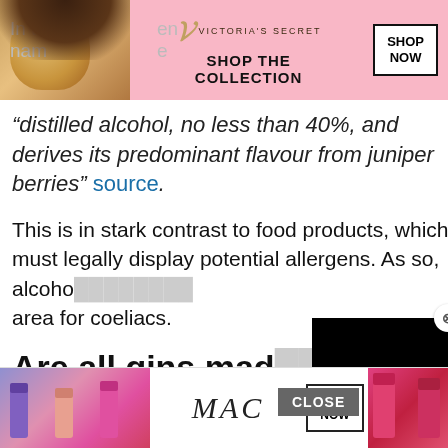[Figure (photo): Victoria's Secret advertisement banner with model, VS logo, 'SHOP THE COLLECTION' text, and 'SHOP NOW' button on pink background]
“distilled alcohol, no less than 40%, and derives its predominant flavour from juniper berries” source.
This is in stark contrast to food products, which must legally display potential allergens. As so, alcohol remains a grey area for coeliacs.
Are all gins mad…
No. Gins are produced using a variety of ingredients. The base alcohols which gin manufacturers use can be produced from grains, grapes, potatoes, beets, and other sources.
[Figure (screenshot): Black video player overlay with loading spinner (circle arc) in white]
[Figure (photo): MAC cosmetics advertisement with lipsticks, MAC logo, and SHOP NOW button]